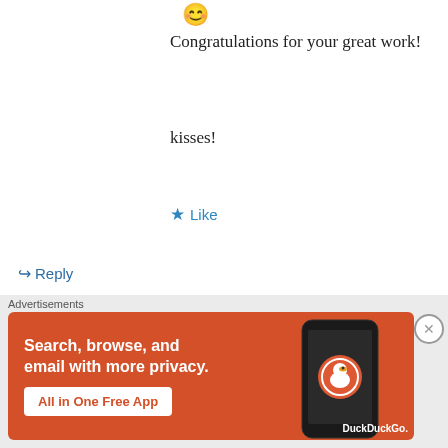😊
Congratulations for your great work!
kisses!
★ Like
↪ Reply
Erika on October 17, 2008 at 7:30 pm
Congrats for the awesome job, this is a great site!
[Figure (infographic): DuckDuckGo advertisement banner: orange background with text 'Search, browse, and email with more privacy. All in One Free App' and a phone image with DuckDuckGo logo]
Advertisements